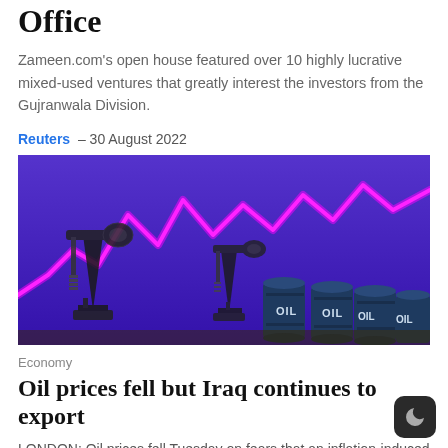Office
Zameen.com's open house featured over 10 highly lucrative mixed-used ventures that greatly interest the investors from the Gujranwala Division.
Reuters – 30 August 2022
[Figure (photo): Photo of oil pump jacks (pumpjacks) in front of a purple background with a bright pink/magenta line chart trending upward, with blue oil barrels labeled 'OIL' in the foreground right.]
Economy
Oil prices fell but Iraq continues to export
LONDON: Oil prices fell Tuesday on fears that an inflation-induced weakening of global economies would soften fuel